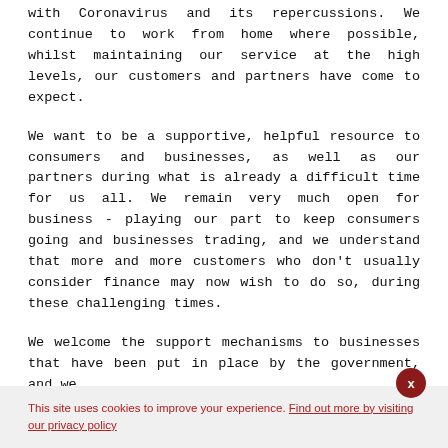with Coronavirus and its repercussions. We continue to work from home where possible, whilst maintaining our service at the high levels, our customers and partners have come to expect.
We want to be a supportive, helpful resource to consumers and businesses, as well as our partners during what is already a difficult time for us all. We remain very much open for business - playing our part to keep consumers going and businesses trading, and we understand that more and more customers who don't usually consider finance may now wish to do so, during these challenging times.
We welcome the support mechanisms to businesses that have been put in place by the government, and we
This site uses cookies to improve your experience. Find out more by visiting our privacy policy